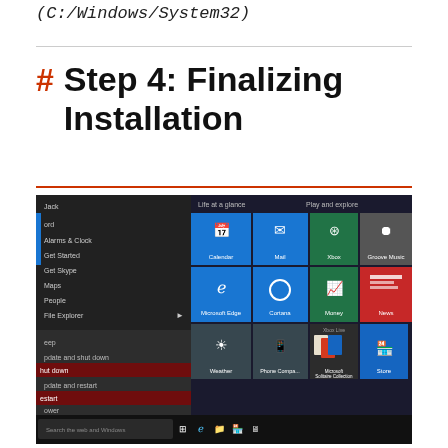(C:/Windows/System32)
Step 4: Finalizing Installation
[Figure (screenshot): Windows 10 Start Menu screenshot showing tiles (Calendar, Mail, Xbox, Groove Music, Movies, Microsoft Edge, Photos, Cortana, Money, News, Weather, Phone Companion, OneNote, Store, Microsoft Solitaire Collection) and a power submenu showing options: Sleep, Update and shut down, Shut down (highlighted), Update and restart, Restart (highlighted), with taskbar at bottom showing search bar, Edge, File Explorer, and other icons.]